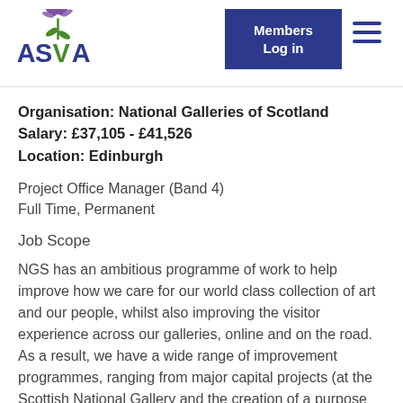[Figure (logo): ASVA logo with thistle flower graphic and text 'ASVA' in blue and green]
Members Log in
Organisation: National Galleries of Scotland
Salary: £37,105 - £41,526
Location: Edinburgh
Project Office Manager (Band 4)
Full Time, Permanent
Job Scope
NGS has an ambitious programme of work to help improve how we care for our world class collection of art and our people, whilst also improving the visitor experience across our galleries, online and on the road. As a result, we have a wide range of improvement programmes, ranging from major capital projects (at the Scottish National Gallery and the creation of a purpose for the national…